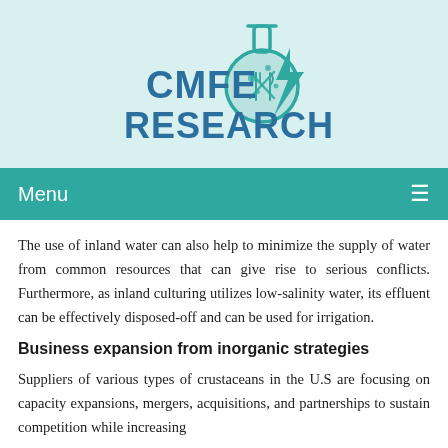[Figure (logo): CMFE RESEARCH logo with laboratory flask, food/fork & knife, and lightning bolt icons in teal color]
Menu
The use of inland water can also help to minimize the supply of water from common resources that can give rise to serious conflicts. Furthermore, as inland culturing utilizes low-salinity water, its effluent can be effectively disposed-off and can be used for irrigation.
Business expansion from inorganic strategies
Suppliers of various types of crustaceans in the U.S are focusing on capacity expansions, mergers, acquisitions, and partnerships to sustain competition while increasing